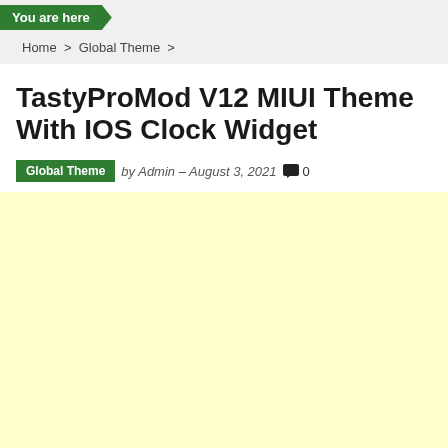You are here
Home > Global Theme >
TastyProMod V12 MIUI Theme With IOS Clock Widget
Global Theme  by Admin – August 3, 2021  0
[Figure (other): Yellow/light cream advertisement placeholder block]